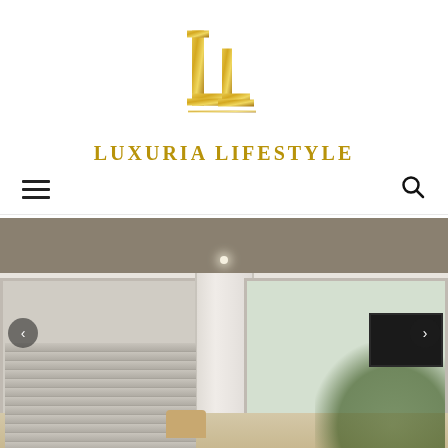[Figure (logo): Luxuria Lifestyle International logo — stylized overlapping gold L characters above the brand name text]
LUXURIA LIFESTYLE INTERNATIONAL
[Figure (photo): Interior photo of a luxury apartment or villa room featuring large sliding glass doors with horizontal blinds on the left, white floor-length curtains in the center, a second window on the right with tropical palm trees visible outside, a television mounted on the right wall, a concrete/grey ceiling with a recessed spotlight, and light wood flooring with a chair visible at the bottom.]